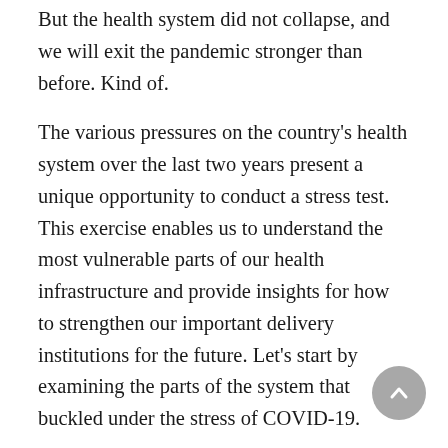But the health system did not collapse, and we will exit the pandemic stronger than before. Kind of.
The various pressures on the country's health system over the last two years present a unique opportunity to conduct a stress test. This exercise enables us to understand the most vulnerable parts of our health infrastructure and provide insights for how to strengthen our important delivery institutions for the future. Let's start by examining the parts of the system that buckled under the stress of COVID-19.
First, our nation's clinical workforce has paid the heaviest price. Clinicians were ground down over the years preceding the pandemic despite increases in compensation for traveling nurses or through hiring